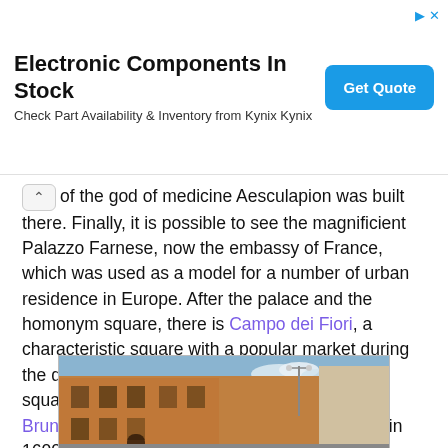[Figure (other): Advertisement banner: 'Electronic Components In Stock' with 'Check Part Availability & Inventory from Kynix Kynix' and a blue 'Get Quote' button]
of the god of medicine Aesculapion was built there. Finally, it is possible to see the magnificient Palazzo Farnese, now the embassy of France, which was used as a model for a number of urban residence in Europe. After the palace and the homonym square, there is Campo dei Fiori, a characteristic square with a popular market during the day and a good nightlife in the evening. The square has at the centre a statue of Giornano Bruno, a religious burned alive there as heretic in 1600.
[Figure (photo): Photograph of historic Roman buildings/streets, showing terracotta-colored multi-story buildings with a blue sky and a street lamp visible]